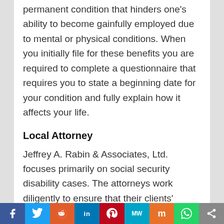permanent condition that hinders one's ability to become gainfully employed due to mental or physical conditions. When you initially file for these benefits you are required to complete a questionnaire that requires you to state a beginning date for your condition and fully explain how it affects your life.
Local Attorney
Jeffrey A. Rabin & Associates, Ltd. focuses primarily on social security disability cases. The attorneys work diligently to ensure that their clients' claims are complete, accurate, and have adequate evidentiary support. Through their understanding of social security laws, the
Social share bar: Facebook, Twitter, Reddit, LinkedIn, Pinterest, MeWe, Mix, WhatsApp, Share